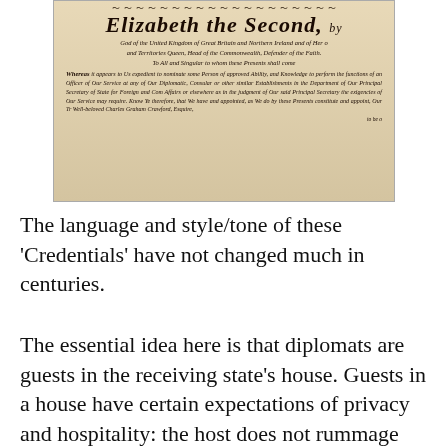[Figure (photo): A photograph of a royal credential document reading 'Elizabeth the Second' in ornate calligraphic script, with formal text appointing Charles Graham Crawford, Esquire, as an officer of diplomatic service.]
The language and style/tone of these 'Credentials' have not changed much in centuries.
The essential idea here is that diplomats are guests in the receiving state's house. Guests in a house have certain expectations of privacy and hospitality: the host does not rummage through their underwear when they're not looking, or deliberately make their